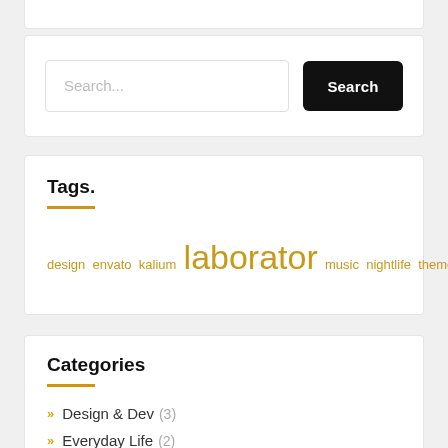Search...
Tags.
design envato kalium laborator music nightlife themeforest
Categories
Design & Dev (3)
Everyday Life (2)